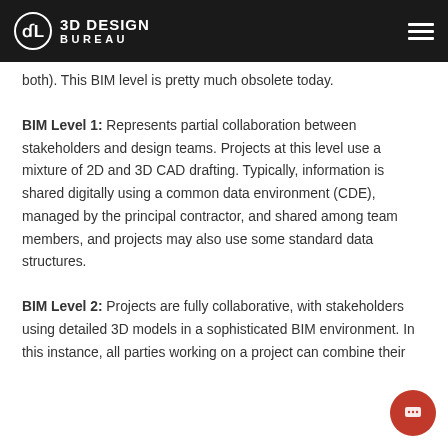3D DESIGN BUREAU
both). This BIM level is pretty much obsolete today.
BIM Level 1: Represents partial collaboration between stakeholders and design teams. Projects at this level use a mixture of 2D and 3D CAD drafting. Typically, information is shared digitally using a common data environment (CDE), managed by the principal contractor, and shared among team members, and projects may also use some standard data structures.
BIM Level 2: Projects are fully collaborative, with stakeholders using detailed 3D models in a sophisticated BIM environment. In this instance, all parties working on a project can combine their